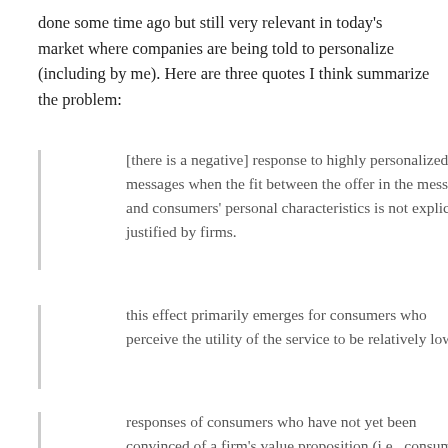done some time ago but still very relevant in today's market where companies are being told to personalize (including by me). Here are three quotes I think summarize the problem:
[there is a negative] response to highly personalized messages when the fit between the offer in the message and consumers' personal characteristics is not explicitly justified by firms.
this effect primarily emerges for consumers who perceive the utility of the service to be relatively low.
responses of consumers who have not yet been convinced of a firm's value proposition (i.e., consumers with lower utility perceptions) to highly targeted personalization efforts depend importantly on the extent to which these messages are